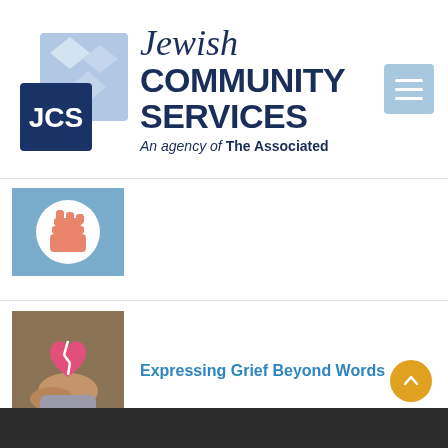[Figure (logo): Jewish Community Services logo with JCS text in blue square and geometric diamond shapes, alongside organization name 'Jewish Community Services - An agency of The Associated']
[Figure (illustration): Illustration of a raised fist on a blue background with a white circle - strength/support imagery]
[Figure (photo): Photo of hands holding a broken pink heart, representing grief]
Expressing Grief Beyond Words